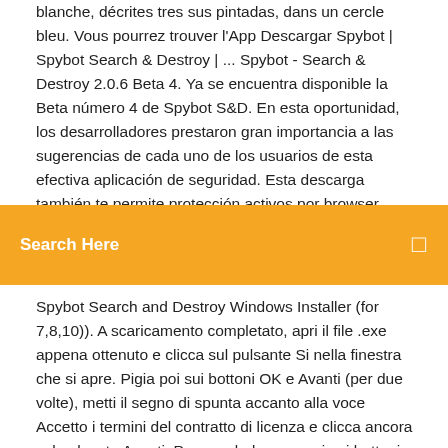blanche, décrites tres sus pintadas, dans un cercle bleu. Vous pourrez trouver l'App Descargar Spybot | Spybot Search & Destroy | ... Spybot - Search & Destroy 2.0.6 Beta 4. Ya se encuentra disponible la Beta número 4 de Spybot S&D. En esta oportunidad, los desarrolladores prestaron gran importancia a las sugerencias de cada uno de los usuarios de esta efectiva aplicación de seguridad. Esta descarga también te permite protección activos por browser optimization en
Spybot Search and Destroy Windows Installer (for 7,8,10)). A scaricamento completato, apri il file .exe appena ottenuto e clicca sul pulsante Si nella finestra che si apre. Pigia poi sui bottoni OK e Avanti (per due volte), metti il segno di spunta accanto alla voce Accetto i termini del contratto di licenza e clicca ancora sul pulsante Avanti. Per concludere, premi sui bottoni Installa e Fine télécharger spybot search and destroy gratuit (windows) télécharger spybot search and destroy